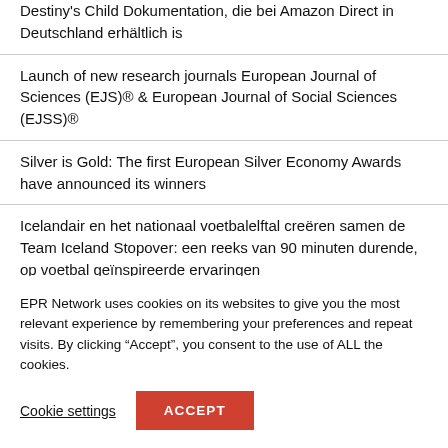Destiny's Child Dokumentation, die bei Amazon Direct in Deutschland erhältlich is
Launch of new research journals European Journal of Sciences (EJS)® & European Journal of Social Sciences (EJSS)®
Silver is Gold: The first European Silver Economy Awards have announced its winners
Icelandair en het nationaal voetbalelftal creëren samen de Team Iceland Stopover: een reeks van 90 minuten durende, op voetbal geïnspireerde ervaringen
EPR Network uses cookies on its websites to give you the most relevant experience by remembering your preferences and repeat visits. By clicking "Accept", you consent to the use of ALL the cookies.
Cookie settings
ACCEPT